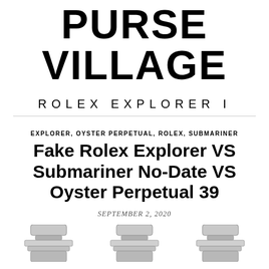PURSE VILLAGE
ROLEX EXPLORER I
EXPLORER, OYSTER PERPETUAL, ROLEX, SUBMARINER
Fake Rolex Explorer VS Submariner No-Date VS Oyster Perpetual 39
SEPTEMBER 2, 2020
[Figure (photo): Three Rolex watches side by side showing bracelet/case tops, partially cropped at bottom of page]